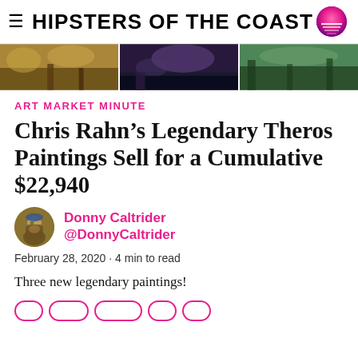HIPSTERS OF THE COAST
[Figure (photo): Three fantasy art painting thumbnails in a horizontal strip — warm autumn landscape, dark purple dramatic scene, green forest landscape]
ART MARKET MINUTE
Chris Rahn’s Legendary Theros Paintings Sell for a Cumulative $22,940
Donny Caltrider @DonnyCaltrider
February 28, 2020 · 4 min to read
Three new legendary paintings!